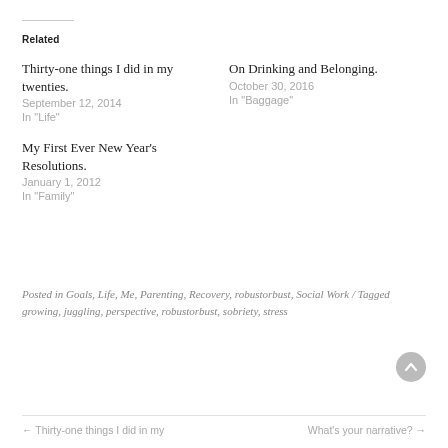Related
Thirty-one things I did in my twenties.
September 12, 2014
In "Life"
My First Ever New Year's Resolutions.
January 1, 2012
In "Family"
On Drinking and Belonging.
October 30, 2016
In "Baggage"
Posted in Goals, Life, Me, Parenting, Recovery, robustorbust, Social Work / Tagged growing, juggling, perspective, robustorbust, sobriety, stress
← Thirty-one things I did in my   What's your narrative? →